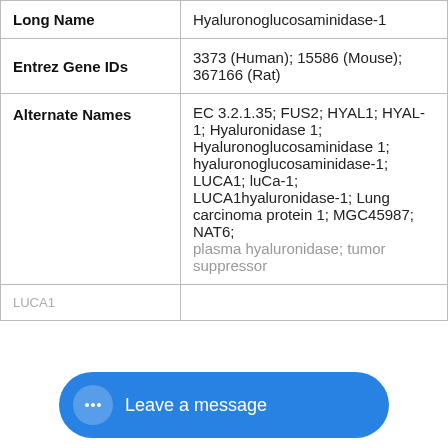| Field | Value |
| --- | --- |
| Long Name | Hyaluronoglucosaminidase-1 |
| Entrez Gene IDs | 3373 (Human); 15586 (Mouse); 367166 (Rat) |
| Alternate Names | EC 3.2.1.35; FUS2; HYAL1; HYAL-1; Hyaluronidase 1; Hyaluronoglucosaminidase 1; hyaluronoglucosaminidase-1; LUCA1; luCa-1; LUCA1hyaluronidase-1; Lung carcinoma protein 1; MGC45987; NAT6; plasma hyaluronidase; tumor suppressor LUCA1 |
R&D Systems uses cookies to provide you with a great website experience. By continuing to use this website you acknowledge this and agree to our cookie policy. Learn More
Related Research Areas
Cancer Biomarkers
Glycobiology-related...
Leave a message